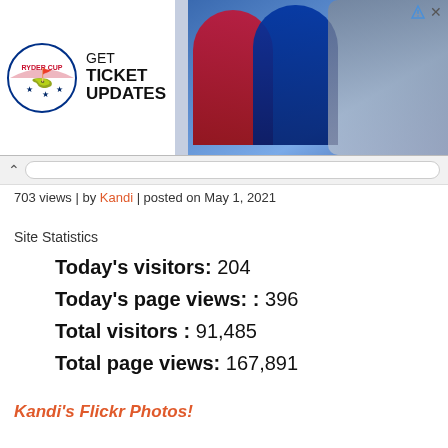[Figure (infographic): Ryder Cup advertisement banner: GET TICKET UPDATES with logo and golfer photos]
703 views | by Kandi | posted on May 1, 2021
Site Statistics
Today's visitors: 204
Today's page views: : 396
Total visitors : 91,485
Total page views: 167,891
Kandi's Flickr Photos!